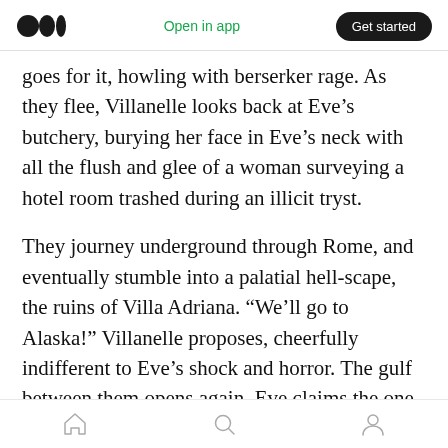Open in app | Get started
goes for it, howling with berserker rage. As they flee, Villanelle looks back at Eve’s butchery, burying her face in Eve’s neck with all the flush and glee of a woman surveying a hotel room trashed during an illicit tryst.
They journey underground through Rome, and eventually stumble into a palatial hell-scape, the ruins of Villa Adriana. “We’ll go to Alaska!” Villanelle proposes, cheerfully indifferent to Eve’s shock and horror. The gulf between them opens again. Eve claims the one power unavailable to Villanelle: she can go back. She can still belong to
Home | Search | Profile